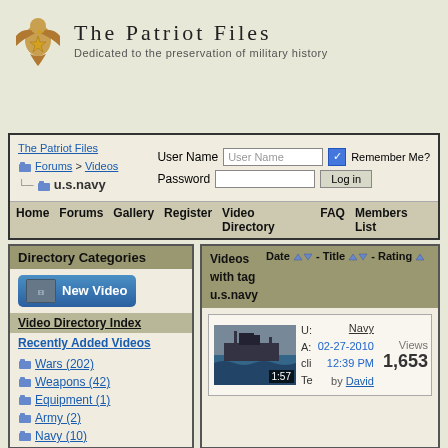[Figure (logo): Eagle and star logo for The Patriot Files]
The Patriot Files
Dedicated to the preservation of military history
The Patriot Files Forums > Videos u.s.navy | User Name [field] Remember Me? Password [field] Log in
Home   Forums   Gallery   Register   Video Directory   FAQ   Members List
Directory Categories
New Video
Video Directory Index
Recently Added Videos
Wars (202)
Weapons (42)
Equipment (1)
Army (2)
Navy (10)
Videos with tag u.s.navy   Date - Title - Rating
[Figure (screenshot): Video thumbnail of Navy ship at sea, duration 1:57]
U. A. cli Te   Navy 02-27-2010 12:39 PM by David   Views 1,653